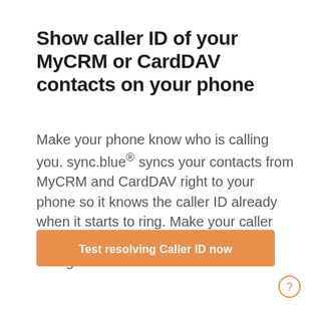Show caller ID of your MyCRM or CardDAV contacts on your phone
Make your phone know who is calling you. sync.blue® syncs your contacts from MyCRM and CardDAV right to your phone so it knows the caller ID already when it starts to ring. Make your caller smile and greet him personally when taking the call.
[Figure (other): Orange rounded rectangle button with white bold text: 'Test resolving Caller ID now']
[Figure (other): Small circular help icon (question mark in circle) with orange border, bottom right corner]